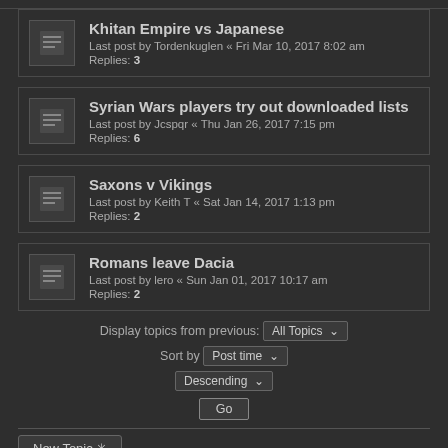Khitan Empire vs Japanese
Last post by Tordenkuglen « Fri Mar 10, 2017 8:02 am
Replies: 3
Syrian Wars players try out downloaded lists
Last post by Jcspqr « Thu Jan 26, 2017 7:15 pm
Replies: 6
Saxons v Vikings
Last post by Keith T « Sat Jan 14, 2017 1:13 pm
Replies: 2
Romans leave Dacia
Last post by lero « Sun Jan 01, 2017 10:17 am
Replies: 2
Display topics from previous: All Topics ∨
Sort by Post time ∨
Descending ∨
Go
New Topic ✳
19 topics • Page 1 of 1